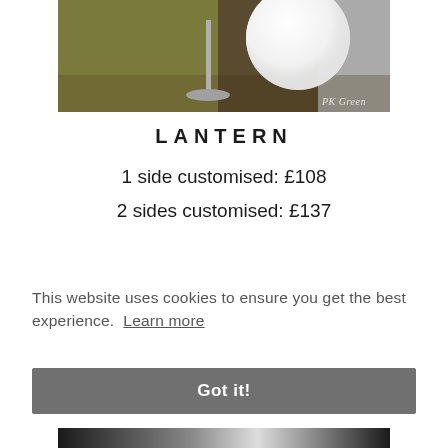[Figure (photo): Product photo of a lantern with chrome stand on a wooden surface, with a glowing white globe, watermark 'PK Green' in bottom-right corner]
LANTERN
1 side customised: £108
2 sides customised: £137
This website uses cookies to ensure you get the best experience.  Learn more
Got it!
[Figure (photo): Partial product photo at bottom of page, partially cropped]